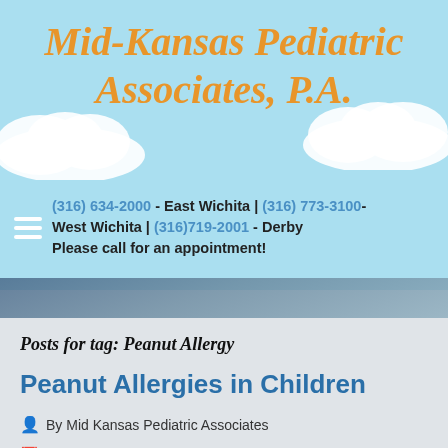Mid-Kansas Pediatric Associates, P.A.
(316) 634-2000 - East Wichita | (316) 773-3100 - West Wichita | (316)719-2001 - Derby Please call for an appointment!
Posts for tag: Peanut Allergy
Peanut Allergies in Children
By Mid Kansas Pediatric Associates
February 28, 2022
Category: Children's Health Care